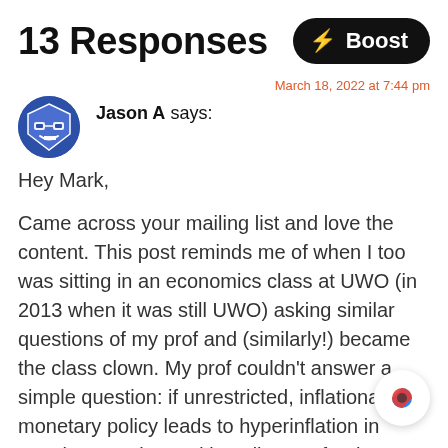13 Responses
[Figure (illustration): Black rounded rectangle button with yellow lightning bolt icon and white bold text 'Boost']
[Figure (illustration): Circular avatar with dark blue background showing a cartoon shield/robot face with glasses]
Jason A says:
March 18, 2022 at 7:44 pm
Hey Mark,
Came across your mailing list and love the content. This post reminds me of when I too was sitting in an economics class at UWO (in 2013 when it was still UWO) asking similar questions of my prof and (similarly!) became the class clown. My prof couldn't answer a simple question: if unrestricted, inflationary monetary policy leads to hyperinflation in certain countries and is a disaster for the population, then
[Figure (logo): Circular icon with blue and red design, partially overlapping the text]